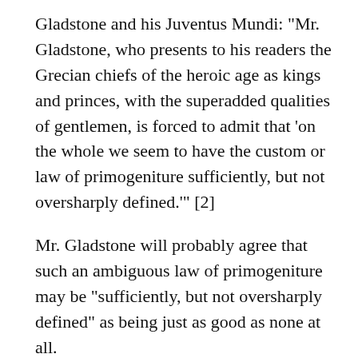Gladstone and his Juventus Mundi: "Mr. Gladstone, who presents to his readers the Grecian chiefs of the heroic age as kings and princes, with the superadded qualities of gentlemen, is forced to admit that 'on the whole we seem to have the custom or law of primogeniture sufficiently, but not oversharply defined.'" [2]
Mr. Gladstone will probably agree that such an ambiguous law of primogeniture may be "sufficiently, but not oversharply defined" as being just as good as none at all.
In what sense the offices of sachem and chieftain were hereditary among the Iroquois and other Indians, we have already seen. All offices were elective, generally within a gens, and to that extent hereditary to the gens. In the course of time, preference when filling